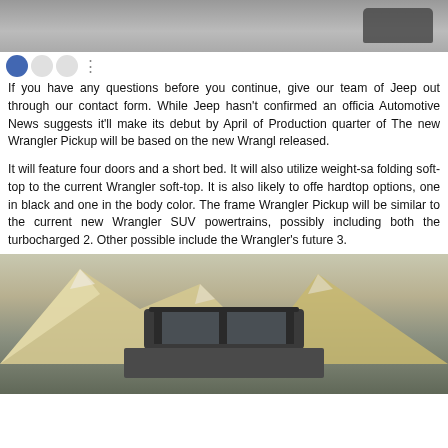[Figure (photo): Top portion of a vehicle/car image, dark background with a car silhouette visible on the right]
If you have any questions before you continue, give our team of Jeep out through our contact form. While Jeep hasn't confirmed an officia Automotive News suggests it'll make its debut by April of Production quarter of The new Wrangler Pickup will be based on the new Wrangl released.
It will feature four doors and a short bed. It will also utilize weight-sa folding soft-top to the current Wrangler soft-top. It is also likely to offe hardtop options, one in black and one in the body color. The frame Wrangler Pickup will be similar to the current new Wrangler SUV powertrains, possibly including both the turbocharged 2. Other possible include the Wrangler's future 3.
[Figure (photo): A Jeep Wrangler photographed from behind/side angle in a mountainous desert landscape with rocky mountains in the background]